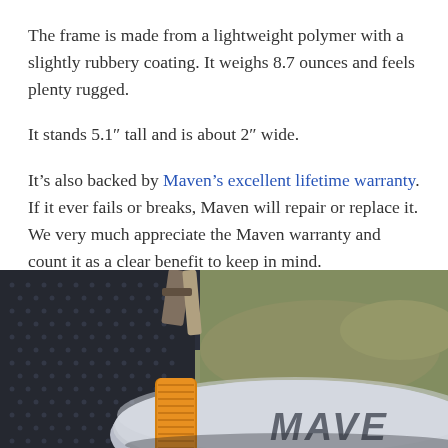The frame is made from a lightweight polymer with a slightly rubbery coating. It weighs 8.7 ounces and feels plenty rugged.
It stands 5.1″ tall and is about 2″ wide.
It’s also backed by Maven’s excellent lifetime warranty. If it ever fails or breaks, Maven will repair or replace it. We very much appreciate the Maven warranty and count it as a clear benefit to keep in mind.
[Figure (photo): Close-up photo of a person holding a Maven binocular with an orange focus ring, wearing a dark mesh glove, with outdoor scenery in the background.]